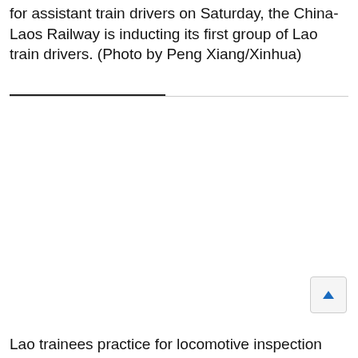for assistant train drivers on Saturday, the China-Laos Railway is inducting its first group of Lao train drivers. (Photo by Peng Xiang/Xinhua)
Lao trainees practice for locomotive inspection